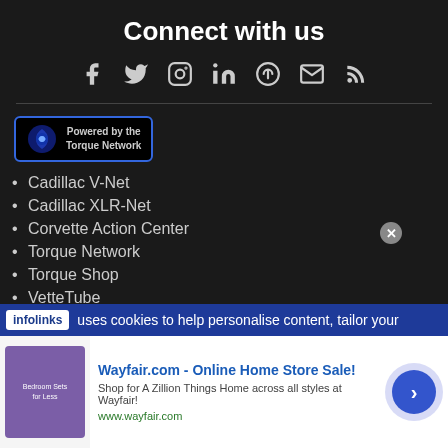Connect with us
[Figure (infographic): Social media icons: Facebook, Twitter, Instagram, LinkedIn, Pinterest, Email/Envelope, RSS feed]
[Figure (logo): Powered by the Torque Network badge with blue power icon]
Cadillac V-Net
Cadillac XLR-Net
Corvette Action Center
Torque Network
Torque Shop
VetteTube
Online statistics
infolinks uses cookies to help personalise content, tailor your
Wayfair.com - Online Home Store Sale! Shop for A Zillion Things Home across all styles at Wayfair! www.wayfair.com